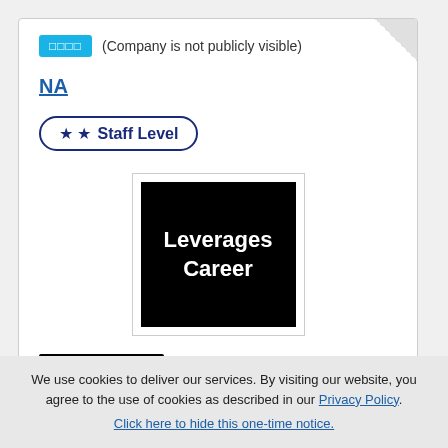□□□□ (Company is not publicly visible)
NA
★★ Staff Level
[Figure (logo): Black square logo with white text reading 'Leverages Career']
Recruiter
Leverages Career China Co., Ltd
We use cookies to deliver our services. By visiting our website, you agree to the use of cookies as described in our Privacy Policy. Click here to hide this one-time notice.